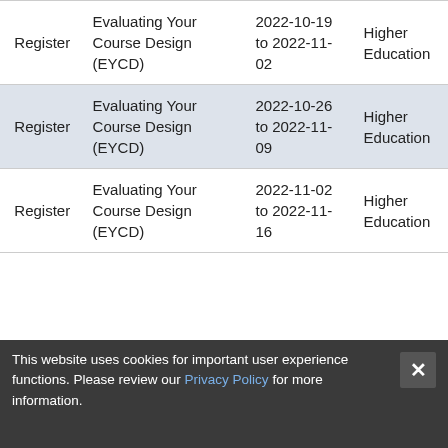|  | Course | Date | Type |
| --- | --- | --- | --- |
| Register | Evaluating Your Course Design (EYCD) | 2022-10-19 to 2022-11-02 | Higher Education |
| Register | Evaluating Your Course Design (EYCD) | 2022-10-26 to 2022-11-09 | Higher Education |
| Register | Evaluating Your Course Design (EYCD) | 2022-11-02 to 2022-11-16 | Higher Education |
This website uses cookies for important user experience functions. Please review our Privacy Policy for more information.